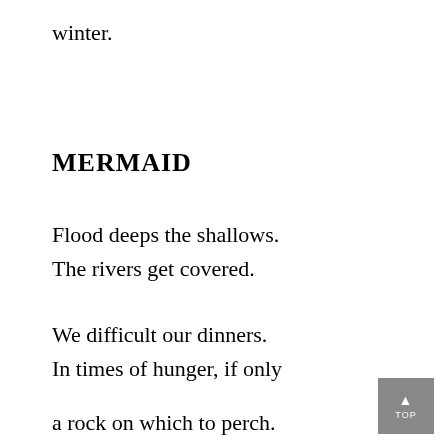winter.
MERMAID
Flood deeps the shallows.
The rivers get covered.
We difficult our dinners.
In times of hunger, if only
a rock on which to perch.